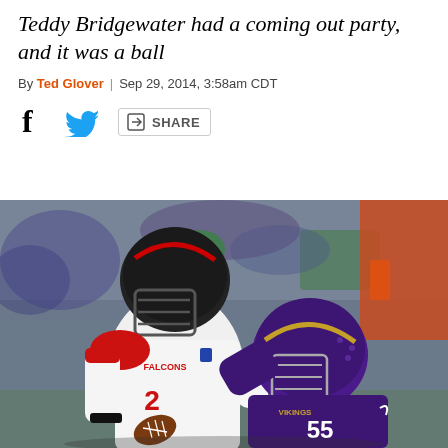Teddy Bridgewater had a coming out party, and it was a ball
By Ted Glover | Sep 29, 2014, 3:58am CDT
[Figure (photo): An Atlanta Falcons quarterback wearing #2 in a white jersey being tackled/sacked by a Minnesota Vikings player wearing #55 in a purple jersey during an NFL game.]